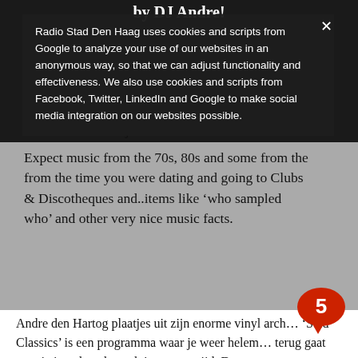by DJ Andre!
Radio Stad Den Haag uses cookies and scripts from Google to analyze your use of our websites in an anonymous way, so that we can adjust functionality and effectiveness. We also use cookies and scripts from Facebook, Twitter, LinkedIn and Google to make social media integration on our websites possible.
Expect music from the 70s, 80s and some from the from the time you were dating and going to Clubs & Discotheques and..items like ‘who sampled who’ and other very nice music facts.
And…he always ends with something special!
Watch it here and join our chat!
Andre den Hartog plaatjes uit zijn enorme vinyl arch… ‘Stad Classics’ is een programma waar je weer helem… terug gaat naar je jeugd en dus ook jouw stap-tijd. De